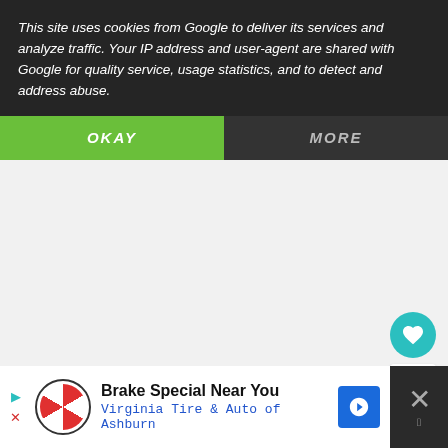This site uses cookies from Google to deliver its services and analyze traffic. Your IP address and user-agent are shared with Google for quality service, usage statistics, and to detect and address abuse.
OKAY
MORE
1
WHAT'S NEXT → Gooseberry Patch The...
Brake Special Near You
Virginia Tire & Auto of Ashburn